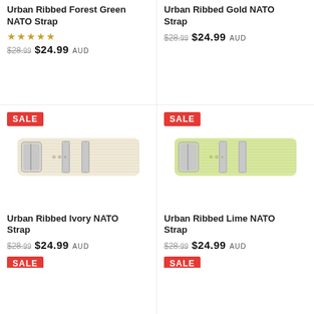Urban Ribbed Forest Green NATO Strap
★★★★★ $28.99 $24.99 AUD
Urban Ribbed Gold NATO Strap
$28.99 $24.99 AUD
[Figure (photo): Ivory NATO watch strap with silver buckle and keepers, SALE badge]
[Figure (photo): Lime NATO watch strap with silver buckle and keepers, SALE badge]
Urban Ribbed Ivory NATO Strap
$28.99 $24.99 AUD
Urban Ribbed Lime NATO Strap
$28.99 $24.99 AUD